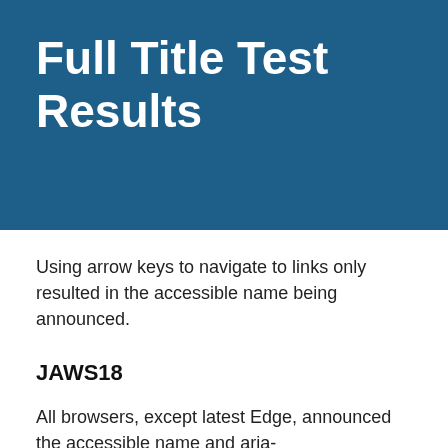Full Title Test Results
Using arrow keys to navigate to links only resulted in the accessible name being announced.
JAWS18
All browsers, except latest Edge, announced the accessible name and aria-describedby when tabbing to links or